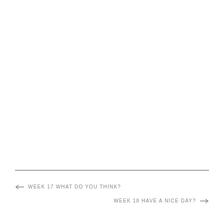← WEEK 17 WHAT DO YOU THINK?
WEEK 18 HAVE A NICE DAY? →